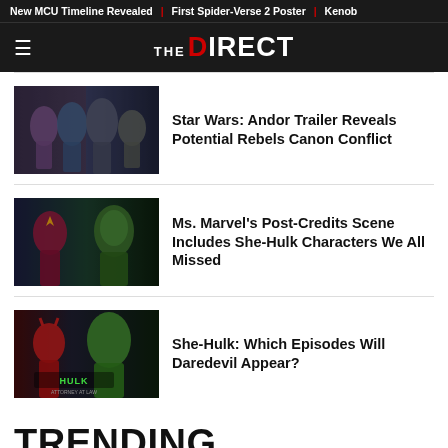New MCU Timeline Revealed | First Spider-Verse 2 Poster | Kenob
THE DIRECT
[Figure (photo): Star Wars Andor and Marvel characters collage thumbnail]
Star Wars: Andor Trailer Reveals Potential Rebels Canon Conflict
[Figure (photo): Ms. Marvel and She-Hulk characters collage thumbnail]
Ms. Marvel's Post-Credits Scene Includes She-Hulk Characters We All Missed
[Figure (photo): She-Hulk Attorney at Law with Daredevil thumbnail]
She-Hulk: Which Episodes Will Daredevil Appear?
TRENDING